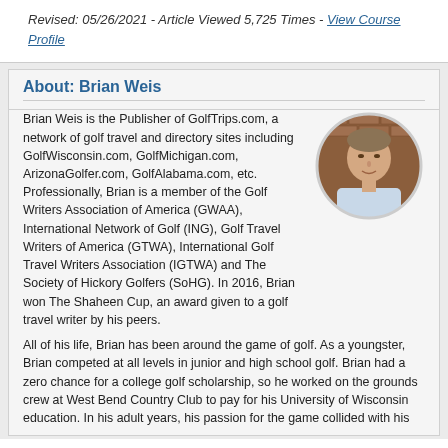Revised: 05/26/2021 - Article Viewed 5,725 Times - View Course Profile
About: Brian Weis
Brian Weis is the Publisher of GolfTrips.com, a network of golf travel and directory sites including GolfWisconsin.com, GolfMichigan.com, ArizonaGolfer.com, GolfAlabama.com, etc. Professionally, Brian is a member of the Golf Writers Association of America (GWAA), International Network of Golf (ING), Golf Travel Writers of America (GTWA), International Golf Travel Writers Association (IGTWA) and The Society of Hickory Golfers (SoHG). In 2016, Brian won The Shaheen Cup, an award given to a golf travel writer by his peers.
[Figure (photo): Circular headshot photo of Brian Weis, a man in a light-colored shirt standing in front of a brick wall background.]
All of his life, Brian has been around the game of golf. As a youngster, Brian competed at all levels in junior and high school golf. Brian had a zero chance for a college golf scholarship, so he worked on the grounds crew at West Bend Country Club to pay for his University of Wisconsin education. In his adult years, his passion for the game collided with his